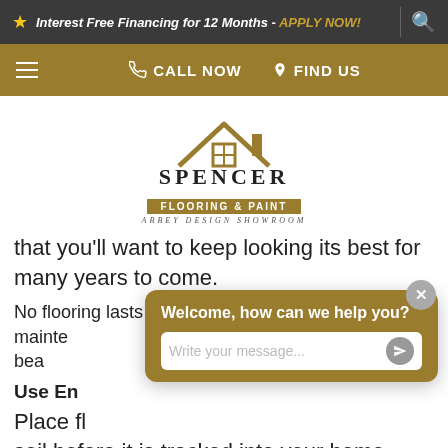Interest Free Financing for 12 Months - APPLY NOW!
[Figure (logo): Spencer Flooring & Paint Abbey Design Showroom logo with house/roof graphic]
that you'll want to keep looking its best for many years to come.
No flooring lasts forever, but by following the maintenance and beauty
Use Entrance Mats
Place fl... soil before it is tracked into your home.